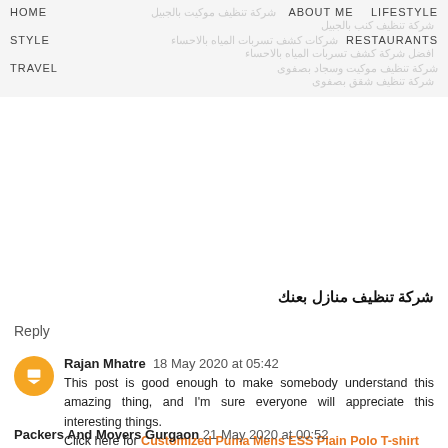HOME | ABOUT ME | LIFESTYLE | STYLE | RESTAURANTS | TRAVEL (with Arabic navigation text overlay)
شركة تنظيف منازل بعنك
Reply
Rajan Mhatre  18 May 2020 at 05:42
This post is good enough to make somebody understand this amazing thing, and I'm sure everyone will appreciate this interesting things.
Click here for Customized Puma Mens ESS Plain Polo T-shirt
Reply
Packers And Movers Gurgaon  21 May 2020 at 00:52